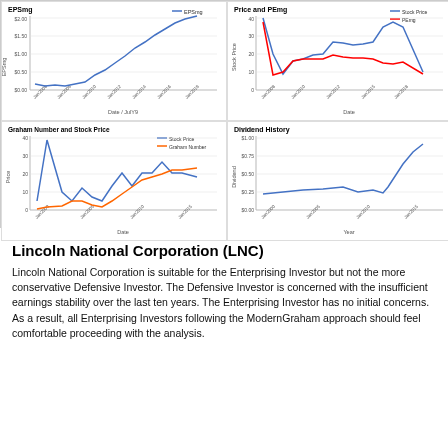[Figure (line-chart): Line chart of EPSmg over time from Jan2008 to Jan2019, trending upward from ~$0.00 to ~$2.50]
[Figure (line-chart): Two-line chart showing Stock Price (blue) and PEmg (red) from Jan2008 to Jan2018]
[Figure (line-chart): Two-line chart showing Stock Price (blue) and Graham Number (red/orange) from Jan2000 to Jan2015]
[Figure (line-chart): Line chart of dividend history from Jan2000 to Jan2015, rising sharply after Jan2010]
Lincoln National Corporation (LNC)
Lincoln National Corporation is suitable for the Enterprising Investor but not the more conservative Defensive Investor. The Defensive Investor is concerned with the insufficient earnings stability over the last ten years. The Enterprising Investor has no initial concerns. As a result, all Enterprising Investors following the ModernGraham approach should feel comfortable proceeding with the analysis.